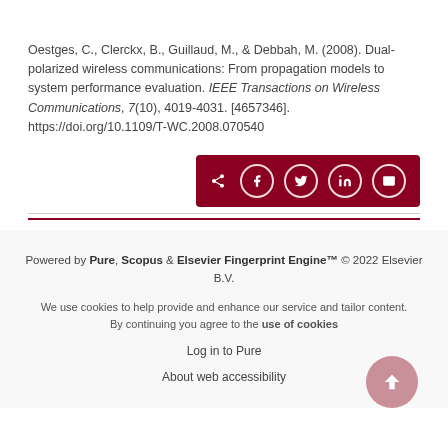Oestges, C., Clerckx, B., Guillaud, M., & Debbah, M. (2008). Dual-polarized wireless communications: From propagation models to system performance evaluation. IEEE Transactions on Wireless Communications, 7(10), 4019-4031. [4657346]. https://doi.org/10.1109/T-WC.2008.070540
[Figure (other): Social sharing bar with share icon and buttons for Facebook, Twitter, LinkedIn, and Email on dark red background]
Powered by Pure, Scopus & Elsevier Fingerprint Engine™ © 2022 Elsevier B.V.
We use cookies to help provide and enhance our service and tailor content. By continuing you agree to the use of cookies
Log in to Pure
About web accessibility